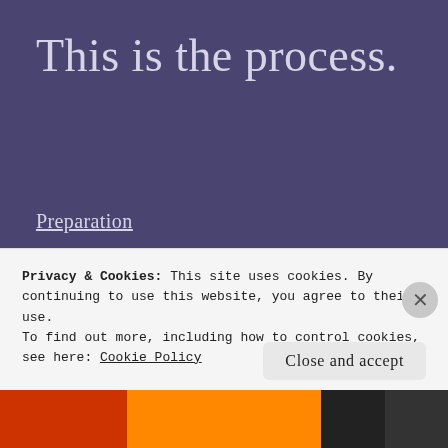This is the process.
Preparation
Clear space around the bench seat including removing the table and cushions
Empty the space under the bench seat of all the stuff that you've put there since you bought the van – most of which you may never
Privacy & Cookies: This site uses cookies. By continuing to use this website, you agree to their use.
To find out more, including how to control cookies, see here: Cookie Policy
Close and accept